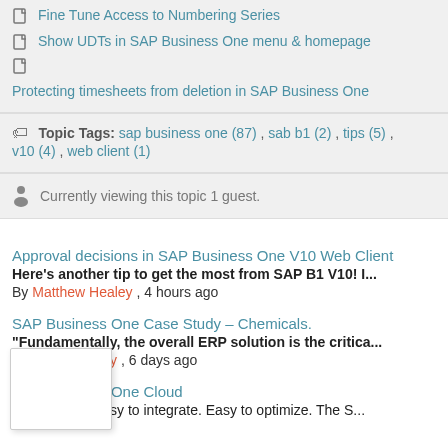Fine Tune Access to Numbering Series
Show UDTs in SAP Business One menu & homepage
Protecting timesheets from deletion in SAP Business One
Topic Tags: sap business one (87) , sab b1 (2) , tips (5) , v10 (4) , web client (1)
Currently viewing this topic 1 guest.
Approval decisions in SAP Business One V10 Web Client
Here's another tip to get the most from SAP B1 V10! I...
By Matthew Healey , 4 hours ago
SAP Business One Case Study – Chemicals.
“Fundamentally, the overall ERP solution is the critica...
By Diane Harvey , 6 days ago
SAP Business One Cloud
Easy to use. Easy to integrate. Easy to optimize. The S...